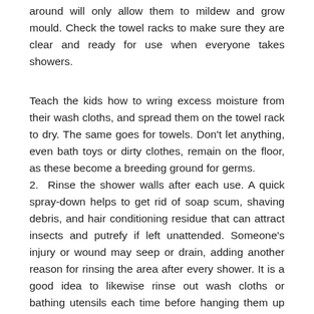around will only allow them to mildew and grow mould. Check the towel racks to make sure they are clear and ready for use when everyone takes showers.
Teach the kids how to wring excess moisture from their wash cloths, and spread them on the towel rack to dry. The same goes for towels. Don't let anything, even bath toys or dirty clothes, remain on the floor, as these become a breeding ground for germs.
2. Rinse the shower walls after each use. A quick spray-down helps to get rid of soap scum, shaving debris, and hair conditioning residue that can attract insects and putrefy if left unattended. Someone's injury or wound may seep or drain, adding another reason for rinsing the area after every shower. It is a good idea to likewise rinse out wash cloths or bathing utensils each time before hanging them up to dry.